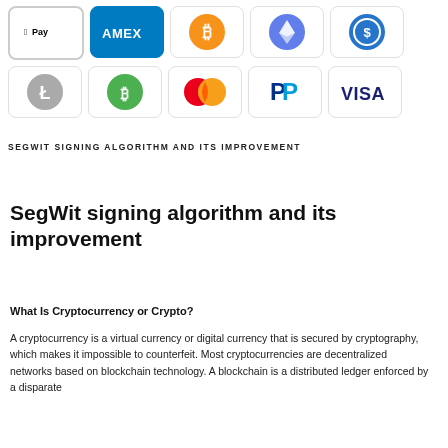[Figure (illustration): Top row of payment method icons: Apple Pay, AMEX, Bitcoin, Ethereum, USD Coin]
[Figure (illustration): Second row of payment method icons: Litecoin, Bitcoin Cash, Mastercard, PayPal, VISA]
SEGWIT SIGNING ALGORITHM AND ITS IMPROVEMENT
SegWit signing algorithm and its improvement
What Is Cryptocurrency or Crypto?
A cryptocurrency is a virtual currency or digital currency that is secured by cryptography, which makes it impossible to counterfeit. Most cryptocurrencies are decentralized networks based on blockchain technology. A blockchain is a distributed ledger enforced by a disparate